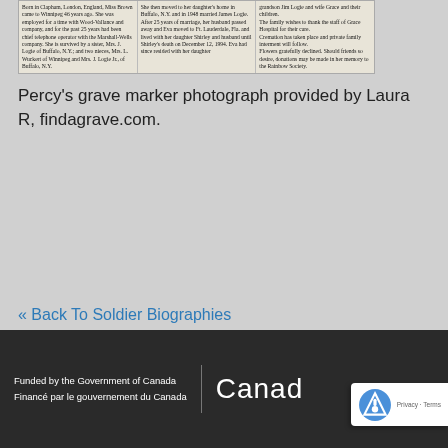[Figure (screenshot): Newspaper clipping scanned image showing obituary text in three columns. Left column discusses Miss Brown coming to Winnipeg, employment history and survivors. Middle column discusses moving to Buffalo NY and marriage to James Logie. Right column discusses daughter Shirley, Grace and children, family thanks, cremation and donations to Rainbow Society.]
Percy's grave marker photograph provided by Laura R, findagrave.com.
« Back To Soldier Biographies
Funded by the Government of Canada
Financé par le gouvernement du Canada